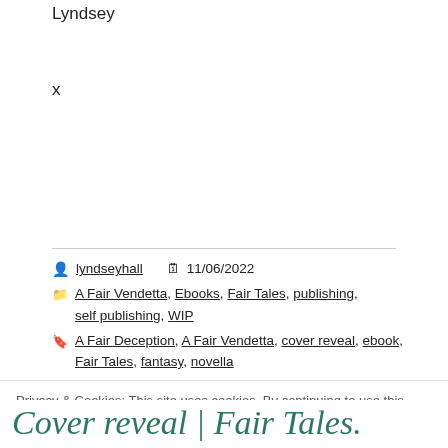Lyndsey
x
lyndseyhall   11/06/2022
A Fair Vendetta, Ebooks, Fair Tales, publishing, self publishing, WIP
A Fair Deception, A Fair Vendetta, cover reveal, ebook, Fair Tales, fantasy, novella
Privacy & Cookies: This site uses cookies. By continuing to use this website, you agree to their use.
To find out more, including how to control cookies, see here: Cookie Policy
Close and accept
Cover reveal | Fair Tales.